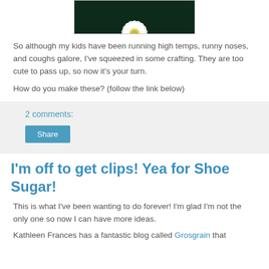[Figure (photo): Top portion of a white daisy flower against a dark background]
So although my kids have been running high temps, runny noses, and coughs galore, I've squeezed in some crafting.  They are too cute to pass up, so now it's your turn.
How do you make these?  (follow the link below)
2 comments:
Share
I'm off to get clips! Yea for Shoe Sugar!
This is what I've been wanting to do forever!  I'm glad I'm not the only one so now I can have more ideas.
Kathleen Frances has a fantastic blog called Grosgrain that